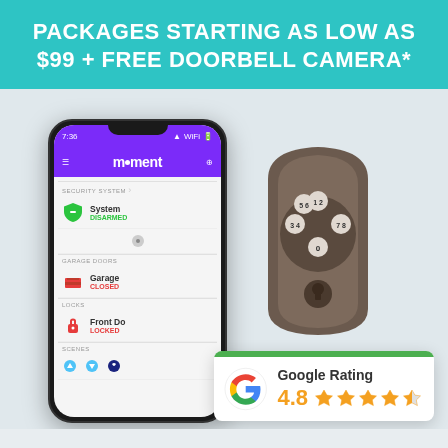PACKAGES STARTING AS LOW AS $99 + FREE DOORBELL CAMERA*
[Figure (photo): Moment security app displayed on a smartphone and a smart lock keypad device, with a Google Rating card overlay showing 4.8 stars]
Google Rating 4.8 ★★★★☆